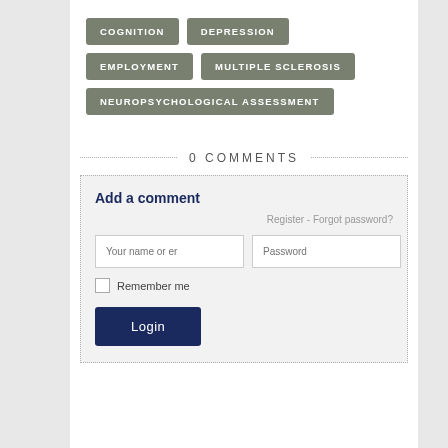COGNITION
DEPRESSION
EMPLOYMENT
MULTIPLE SCLEROSIS
NEUROPSYCHOLOGICAL ASSESSMENT
0 COMMENTS
Add a comment
Register  -  Forgot password?
Your name or er
Password
Remember me
Login